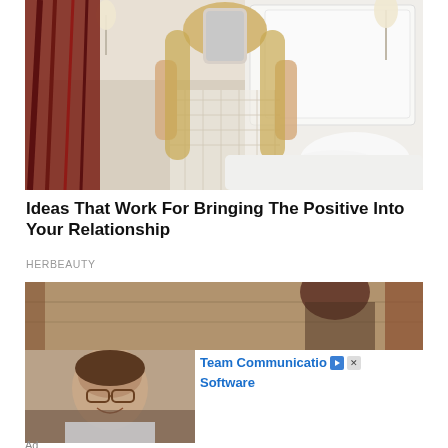[Figure (photo): Woman in white crochet/net top taking a mirror selfie with a phone in a hotel room with white headboard and red curtains]
Ideas That Work For Bringing The Positive Into Your Relationship
HERBEAUTY
[Figure (photo): Woman with brown hair viewed from behind in a warm-toned wooden interior]
[Figure (photo): Advertisement: woman with glasses smiling, for Team Communication Software]
Team Communication Software
Ad